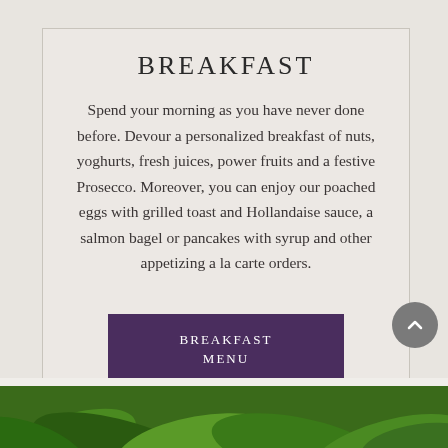BREAKFAST
Spend your morning as you have never done before. Devour a personalized breakfast of nuts, yoghurts, fresh juices, power fruits and a festive Prosecco. Moreover, you can enjoy our poached eggs with grilled toast and Hollandaise sauce, a salmon bagel or pancakes with syrup and other appetizing a la carte orders.
BREAKFAST MENU